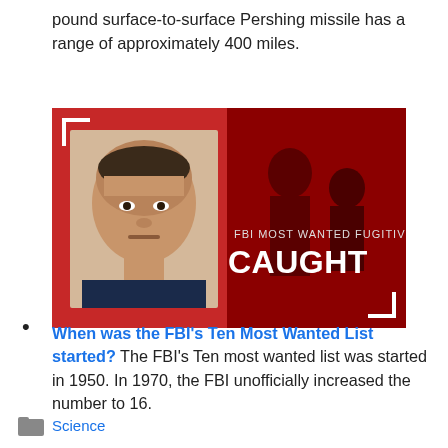pound surface-to-surface Pershing missile has a range of approximately 400 miles.
[Figure (photo): News graphic showing FBI Most Wanted Fugitive Caught — man's mugshot on left, two women in red-tinted background on right, white text overlay reading 'FBI MOST WANTED FUGITIVE CAUGHT']
When was the FBI's Ten Most Wanted List started? The FBI's Ten most wanted list was started in 1950. In 1970, the FBI unofficially increased the number to 16.
Science